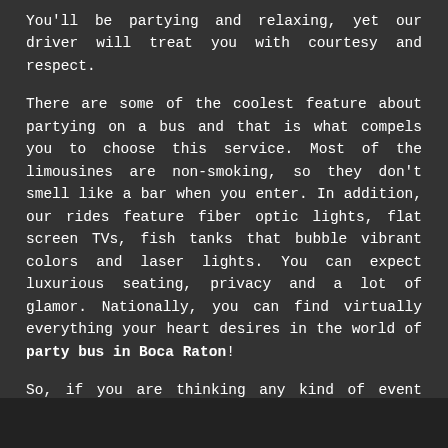You'll be partying and relaxing, yet our driver will treat you with courtesy and respect.
There are some of the coolest feature about partying on a bus and that is what compels you to choose this service. Most of the limousines are non-smoking, so they don't smell like a bar when you enter. In addition, our rides feature fiber optic lights, flat screen TVs, fish tanks that bubble vibrant colors and laser lights. You can expect luxurious seating, privacy and a lot of glamor. Nationally, you can find virtually everything your heart desires in the world of party bus in Boca Raton!
So, if you are thinking any kind of event such as a birthday, bachelor or prom night party, you are always welcomed to contact us for a glamorous party bus.